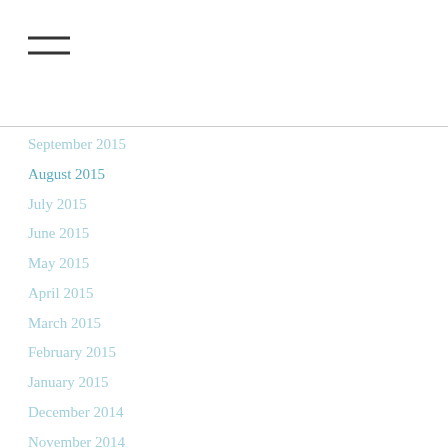[Figure (other): Hamburger menu icon with two horizontal lines]
September 2015
August 2015
July 2015
June 2015
May 2015
April 2015
March 2015
February 2015
January 2015
December 2014
November 2014
October 2014
September 2014
August 2014
July 2014
June 2014
May 2014
April 2014